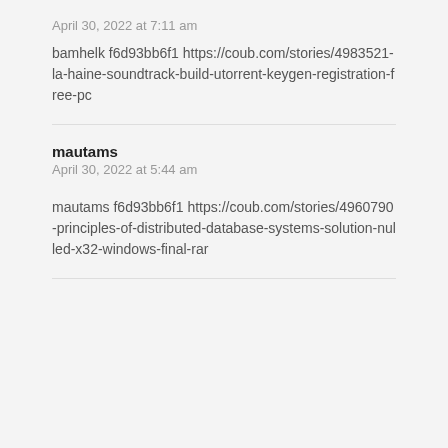April 30, 2022 at 7:11 am
bamhelk f6d93bb6f1 https://coub.com/stories/4983521-la-haine-soundtrack-build-utorrent-keygen-registration-free-pc
mautams
April 30, 2022 at 5:44 am
mautams f6d93bb6f1 https://coub.com/stories/4960790-principles-of-distributed-database-systems-solution-nulled-x32-windows-final-rar